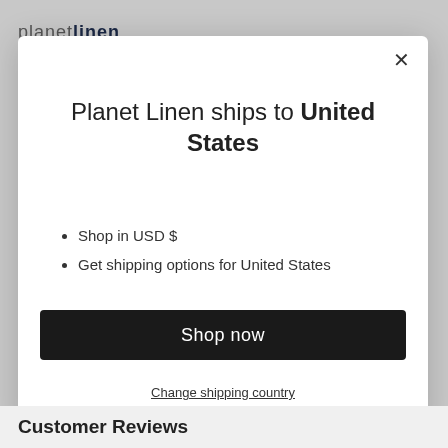[Figure (screenshot): Dimmed website background showing Planet Linen logo and navigation icons]
Planet Linen ships to United States
Shop in USD $
Get shipping options for United States
Shop now
Change shipping country
Customer Reviews